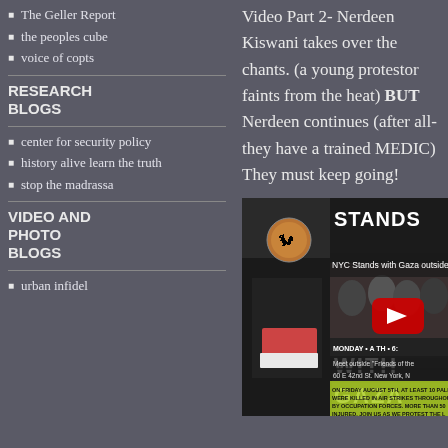The Geller Report
the peoples cube
voice of copts
RESEARCH BLOGS
center for security policy
history alive learn the truth
stop the madrassa
VIDEO AND PHOTO BLOGS
urban infidel
Video Part 2- Nerdeen Kiswani takes over the chants. (a young protestor faints from the heat) BUT Nerdeen continues (after all-they have a trained MEDIC) They must keep going!
[Figure (screenshot): YouTube video thumbnail showing 'NYC Stands with Gaza outside IDI' protest event flyer with crowd imagery and event details including Monday, 60 E 42nd St New York, with a YouTube play button overlay.]